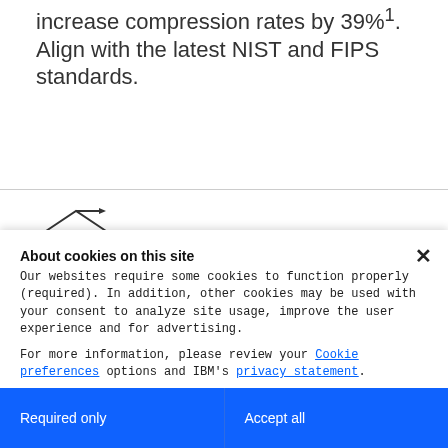Reduce storage requirements by 47% and increase compression rates by 39%¹. Align with the latest NIST and FIPS standards.
[Figure (logo): Partial logo or icon visible in middle section]
About cookies on this site
Our websites require some cookies to function properly (required). In addition, other cookies may be used with your consent to analyze site usage, improve the user experience and for advertising.

For more information, please review your Cookie preferences options and IBM's privacy statement.
Required only
Accept all